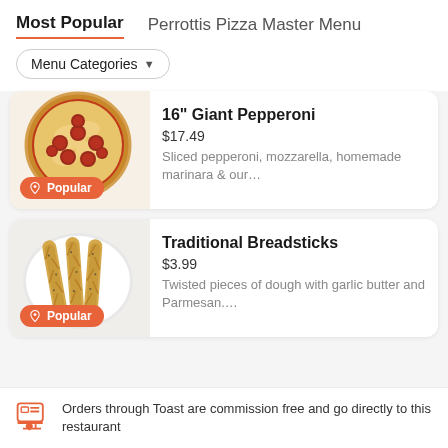Most Popular | Perrottis Pizza Master Menu
Menu Categories ▼
[Figure (photo): Pepperoni pizza with Popular badge]
16" Giant Pepperoni
$17.49
Sliced pepperoni, mozzarella, homemade marinara & our...
[Figure (photo): Breadsticks on a white plate with Popular badge]
Traditional Breadsticks
$3.99
Twisted pieces of dough with garlic butter and Parmesan....
Orders through Toast are commission free and go directly to this restaurant